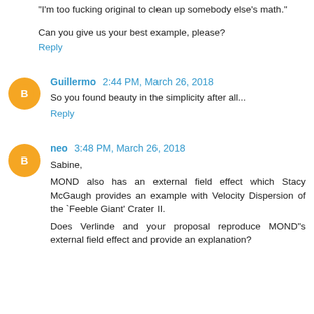"I'm too fucking original to clean up somebody else's math."
Can you give us your best example, please?
Reply
Guillermo  2:44 PM, March 26, 2018
So you found beauty in the simplicity after all...
Reply
neo  3:48 PM, March 26, 2018
Sabine,
MOND also has an external field effect which Stacy McGaugh provides an example with Velocity Dispersion of the `Feeble Giant' Crater II.
Does Verlinde and your proposal reproduce MOND"s external field effect and provide an explanation?